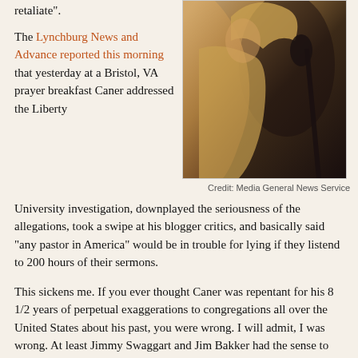retaliate".
The Lynchburg News and Advance reported this morning that yesterday at a Bristol, VA prayer breakfast Caner addressed the Liberty University investigation, downplayed the seriousness of the allegations, took a swipe at his blogger critics, and basically said "any pastor in America" would be in trouble for lying if they listend to 200 hours of their sermons.
[Figure (photo): A person (Caner) at a microphone, raising their arm, wearing a yellow/tan jacket, photographed in dim lighting.]
Credit: Media General News Service
This sickens me. If you ever thought Caner was repentant for his 8 1/2 years of perpetual exaggerations to congregations all over the United States about his past, you were wrong. I will admit, I was wrong. At least Jimmy Swaggart and Jim Bakker had the sense to appear as though they were repentant. Swaggart at least shed a few public tears and looked to the heavens and declared he had sinned. Not Caner. He is full steam ahead, attack the critics, mischaracterize the allegations that led to his dismissal as seminary